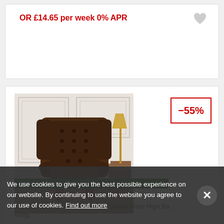OR £14.65 per week 0% APR
[Figure (illustration): Heart/wishlist icon]
-55%
[Figure (photo): Dark brown leather Chesterfield wingback armchair in a white panelled room with herringbone floor and gold lamp]
READY TO COLLECT IN 5 DAYS*
Chesterfield McAlleny Flat Wing Queen Anne High Back Wingback Chair
We use cookies to give you the best possible experience on our website. By continuing to use the website you agree to our use of cookies. Find out more